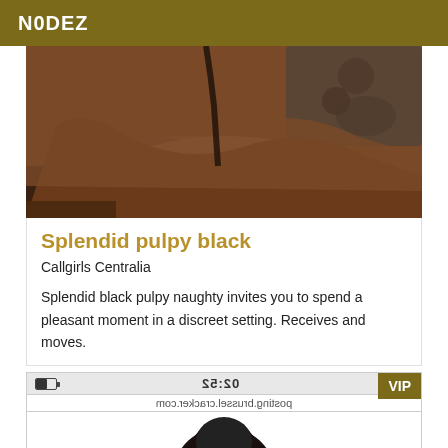N0DEZ
[Figure (photo): Close-up photo showing a dark-skinned person's body, cropped tightly, with a patterned fabric visible in the upper right corner.]
Splendid pulpy black
Callgirls Centralia
Splendid black pulpy naughty invites you to spend a pleasant moment in a discreet setting. Receives and moves.
[Figure (screenshot): Screenshot of a mobile browser showing time 02:52, wifi and signal indicators, URL posting.brussel.cracker.com, a VIP badge in top right, and a silhouette of a person with dark hair below.]